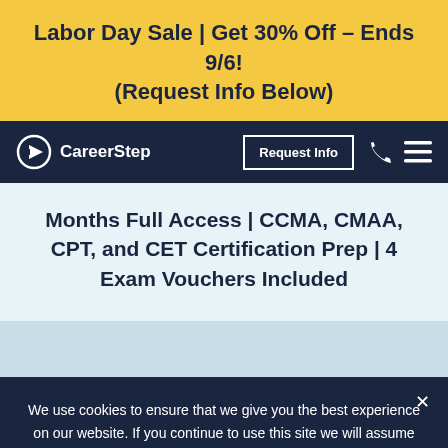Labor Day Sale | Get 30% Off – Ends 9/6! (Request Info Below)
[Figure (logo): CareerStep logo with arrow icon]
Request Info
Months Full Access | CCMA, CMAA, CPT, and CET Certification Prep | 4 Exam Vouchers Included
We use cookies to ensure that we give you the best experience on our website. If you continue to use this site we will assume that you are happy with it.
OK